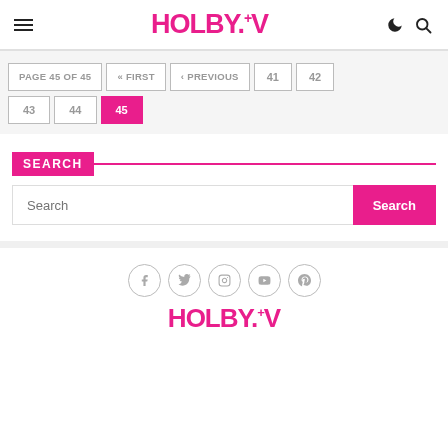HOLBY.TV - header with hamburger menu, logo, moon icon, search icon
PAGE 45 OF 45  « FIRST  ‹ PREVIOUS  41  42  43  44  45 (active)
SEARCH
Search input field with Search button
[Figure (other): Social media icons: Facebook, Twitter, Instagram, YouTube, Pinterest in circular outlines]
HOLBY.TV footer logo